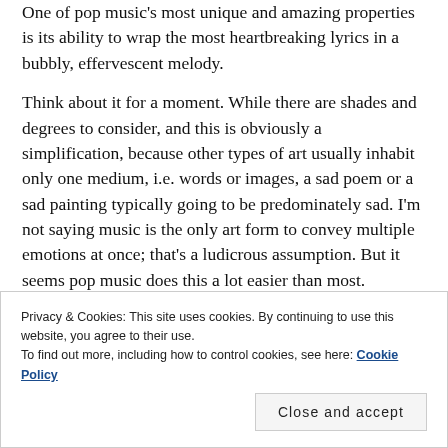One of pop music's most unique and amazing properties is its ability to wrap the most heartbreaking lyrics in a bubbly, effervescent melody.
Think about it for a moment. While there are shades and degrees to consider, and this is obviously a simplification, because other types of art usually inhabit only one medium, i.e. words or images, a sad poem or a sad painting typically going to be predominately sad. I'm not saying music is the only art form to convey multiple emotions at once; that's a ludicrous assumption. But it seems pop music does this a lot easier than most.
Privacy & Cookies: This site uses cookies. By continuing to use this website, you agree to their use. To find out more, including how to control cookies, see here: Cookie Policy
Close and accept